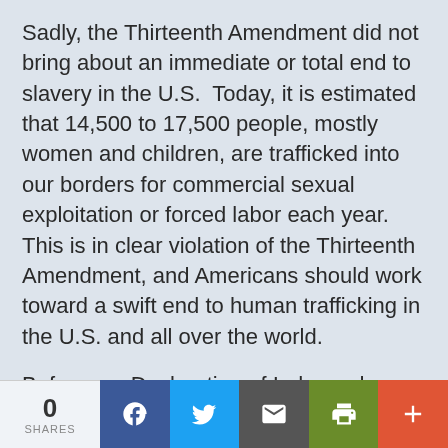Sadly, the Thirteenth Amendment did not bring about an immediate or total end to slavery in the U.S.  Today, it is estimated that 14,500 to 17,500 people, mostly women and children, are trafficked into our borders for commercial sexual exploitation or forced labor each year.  This is in clear violation of the Thirteenth Amendment, and Americans should work toward a swift end to human trafficking in the U.S. and all over the world.
Before our Declaration of Independence was written, English philosopher thinker
0 SHARES | Facebook | Twitter | Email | Print | More